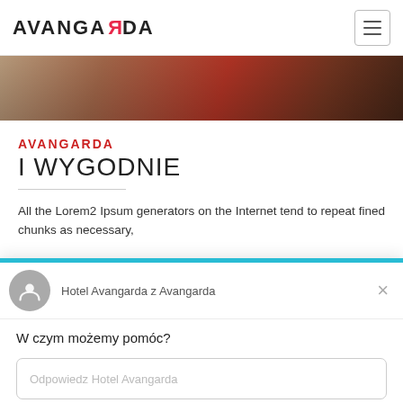AVANGARDA (logo) + hamburger menu icon
[Figure (photo): Hero banner image showing a hotel room interior with red and brown tones]
AVANGARDA
I WYGODNIE
All the Lorem2 Ipsum generators on the Internet tend to repeat fined chunks as necessary,
[Figure (screenshot): Chat widget overlay with avatar icon, Hotel Avangarda z Avangarda header, close button, 'W czym możemy pomóc?' prompt, input field 'Odpowiedz Hotel Avangarda', and 'Czat przez Drift' footer]